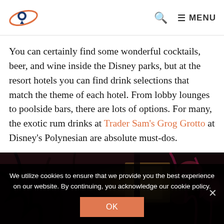[Logo: travel/orbit icon] Q MENU
You can certainly find some wonderful cocktails, beer, and wine inside the Disney parks, but at the resort hotels you can find drink selections that match the theme of each hotel. From lobby lounges to poolside bars, there are lots of options. For many, the exotic rum drinks at Trader Sam's Grog Grotto at Disney's Polynesian are absolute must-dos.
[Figure (photo): Dark interior photo of Trader Sam's Grog Grotto bar at Disney's Polynesian resort, showing dimly lit tiki bar atmosphere with warm golden light and decorative elements.]
We utilize cookies to ensure that we provide you the best experience on our website. By continuing, you acknowledge our cookie policy.